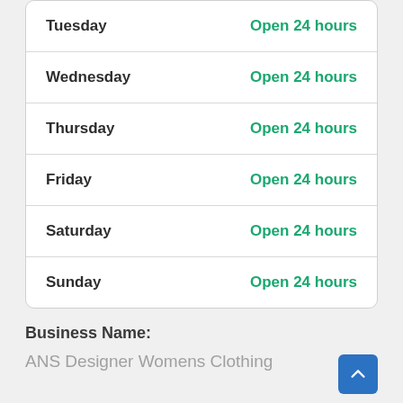| Day | Hours |
| --- | --- |
| Tuesday | Open 24 hours |
| Wednesday | Open 24 hours |
| Thursday | Open 24 hours |
| Friday | Open 24 hours |
| Saturday | Open 24 hours |
| Sunday | Open 24 hours |
Business Name:
ANS Designer Womens Clothing